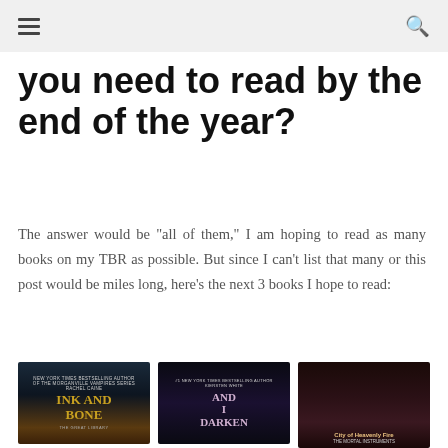≡  🔍
you need to read by the end of the year?
The answer would be "all of them," I am hoping to read as many books on my TBR as possible. But since I can't list that many or this post would be miles long, here's the next 3 books I hope to read:
[Figure (photo): Three book covers side by side: Ink and Bone by Rachel Caine, And I Darken by Kiersten White, and City of Heavenly Fire from The Mortal Instruments series.]